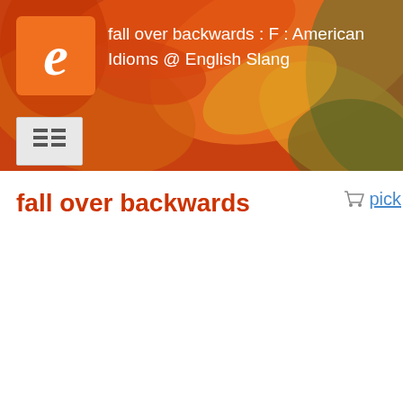fall over backwards : F : American Idioms @ English Slang
fall over backwards
pick